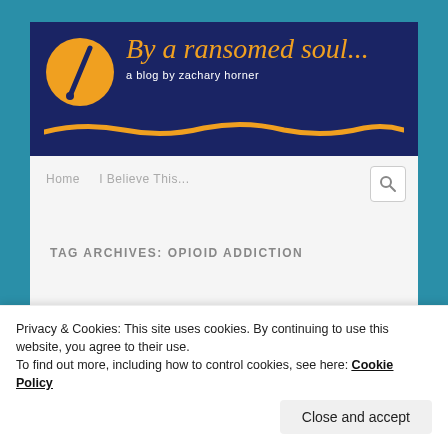[Figure (logo): Blog header banner with dark navy background, orange circle with pencil/slash logo, handwritten-style orange text 'By a ransomed soul...' with subtitle 'a blog by zachary horner', and orange swoosh underline]
Home    I Believe This...
TAG ARCHIVES: OPIOID ADDICTION
Privacy & Cookies: This site uses cookies. By continuing to use this website, you agree to their use.
To find out more, including how to control cookies, see here: Cookie Policy
Close and accept